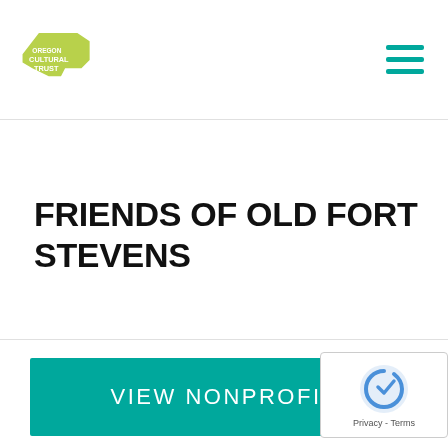Oregon Cultural Trust
FRIENDS OF OLD FORT STEVENS
...
VIEW NONPROFIT